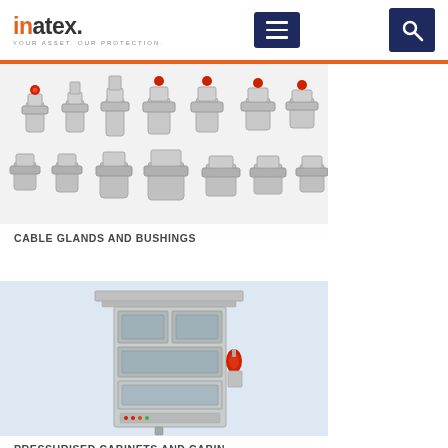[Figure (logo): inatex. logo with tagline YOUR ASSET. OUR PROTECTION.]
[Figure (other): Hamburger menu button (dark navy blue)]
[Figure (other): Search button (dark navy blue) with magnifying glass icon]
[Figure (photo): Photo of various cable glands and bushings — metallic silver fittings arranged in rows on white background]
CABLE GLANDS AND BUSHINGS
[Figure (photo): Photo of a pressurised cabinet/enclosure — tall grey metal industrial cabinet with display panels, buttons, and a red horn/siren on the side, on a light blue background]
PRESSURISED CABINETS AND CABINS